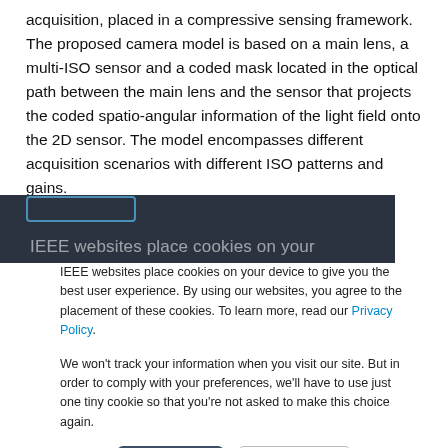acquisition, placed in a compressive sensing framework. The proposed camera model is based on a main lens, a multi-ISO sensor and a coded mask located in the optical path between the main lens and the sensor that projects the coded spatio-angular information of the light field onto the 2D sensor. The model encompasses different acquisition scenarios with different ISO patterns and gains.
[Figure (screenshot): A dark overlay/cookie consent banner from an IEEE website. The banner contains two paragraphs of text about cookies and a Privacy Policy link, plus Accept and Decline buttons.]
IEEE websites place cookies on your device to give you the best user experience. By using our websites, you agree to the placement of these cookies. To learn more, read our Privacy Policy.
We won't track your information when you visit our site. But in order to comply with your preferences, we'll have to use just one tiny cookie so that you're not asked to make this choice again.